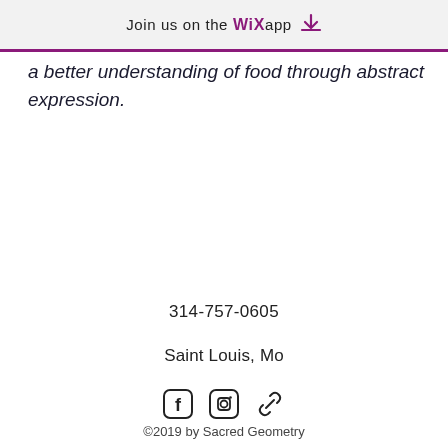Join us on the WiX app ⬇
a better understanding of food through abstract expression.
314-757-0605
Saint Louis, Mo
[Figure (other): Social media icons: Facebook, Instagram, and link/chain icon]
©2019 by Sacred Geometry